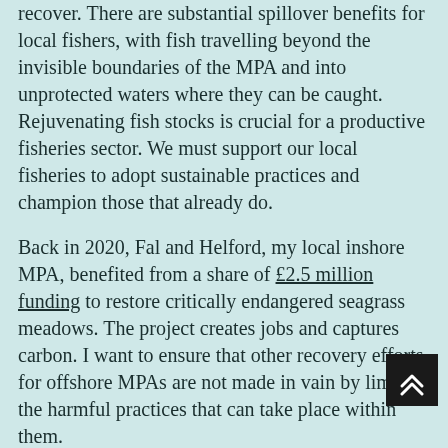recover. There are substantial spillover benefits for local fishers, with fish travelling beyond the invisible boundaries of the MPA and into unprotected waters where they can be caught. Rejuvenating fish stocks is crucial for a productive fisheries sector. We must support our local fisheries to adopt sustainable practices and champion those that already do.
Back in 2020, Fal and Helford, my local inshore MPA, benefited from a share of £2.5 million funding to restore critically endangered seagrass meadows. The project creates jobs and captures carbon. I want to ensure that other recovery efforts for offshore MPAs are not made in vain by limiting the harmful practices that can take place within them.